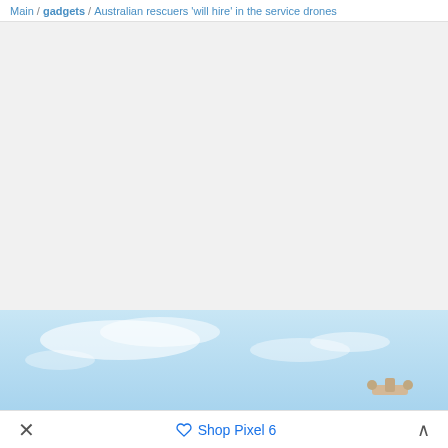Main / gadgets / Australian rescuers 'will hire' in the service drones
[Figure (photo): Blue sky with soft white clouds, and a partially visible drone at bottom right of the image area]
X  Shop Pixel 6  ∧